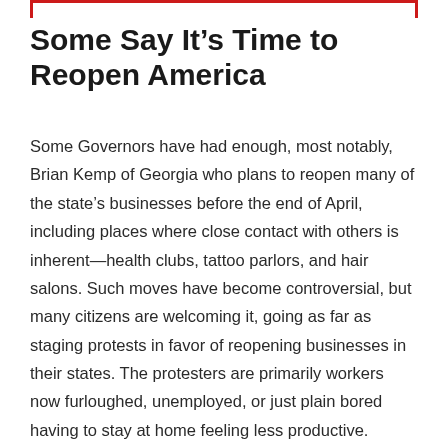Some Say It’s Time to Reopen America
Some Governors have had enough, most notably, Brian Kemp of Georgia who plans to reopen many of the state’s businesses before the end of April, including places where close contact with others is inherent—health clubs, tattoo parlors, and hair salons. Such moves have become controversial, but many citizens are welcoming it, going as far as staging protests in favor of reopening businesses in their states. The protesters are primarily workers now furloughed, unemployed, or just plain bored having to stay at home feeling less productive.